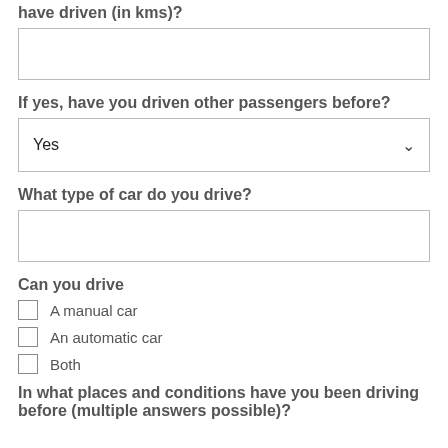have driven (in kms)?
[text input box]
If yes, have you driven other passengers before?
Yes [dropdown]
What type of car do you drive?
[text input box]
Can you drive
A manual car
An automatic car
Both
In what places and conditions have you been driving before (multiple answers possible)?